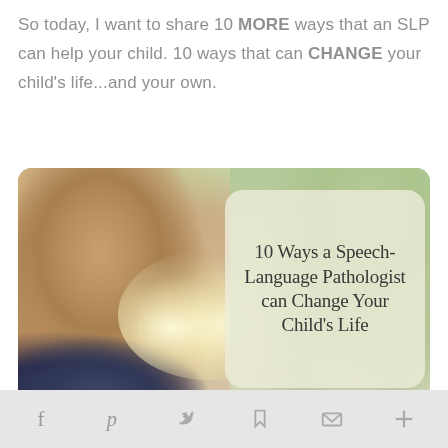So today, I want to share 10 MORE ways that an SLP can help your child. 10 ways that can CHANGE your child's life...and your own.
[Figure (photo): A young toddler blowing a dandelion with eyes closed, with a text overlay box reading '10 Ways a Speech-Language Pathologist can Change Your Child's Life' and watermark www.playingwithwords365.com]
f  p  bird/twitter  bookmark  mail  +  (social sharing bar)